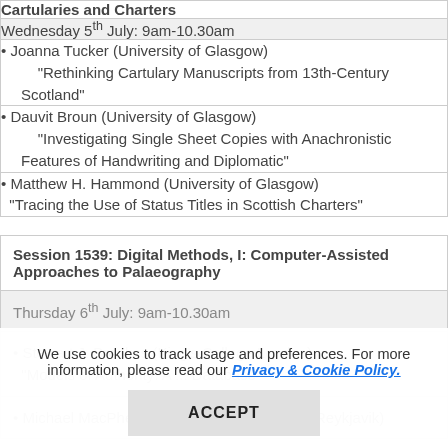Cartularies and Charters
Wednesday 5th July: 9am-10.30am
• Joanna Tucker (University of Glasgow)
"Rethinking Cartulary Manuscripts from 13th-Century Scotland"
• Dauvit Broun (University of Glasgow)
"Investigating Single Sheet Copies with Anachronistic Features of Handwriting and Diplomatic"
• Matthew H. Hammond (University of Glasgow)
"Tracing the Use of Status Titles in Scottish Charters"
Session 1539: Digital Methods, I: Computer-Assisted Approaches to Palaeography
Thursday 6th July: 9am-10.30am
• Stewart J. Brookes (King's College London)
"Models of Authority: A ... Database"
• Michael MacPherson (University of Iceland, Reykjavik)